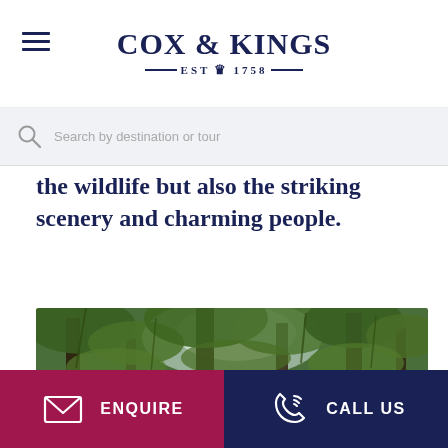COX & KINGS — EST 1758 —
Search by destination or tour
the wildlife but also the striking scenery and charming people.
[Figure (photo): Dense lush green forest with large mossy trees and canopy, light filtering through leaves]
ENQUIRE | CALL US